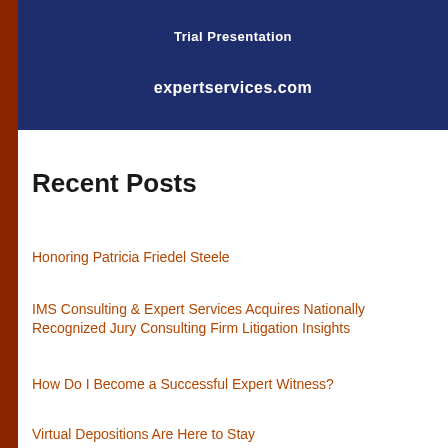[Figure (other): Dark navy blue banner with text 'Trial Presentation' and URL 'expertservices.com']
Recent Posts
Honoring Patricia Friedel Steele
IMS Consulting & Expert Services Acquires Nationally Recognized Jury Consulting Firm Litigation Insights
How Do I Become a Successful Expert Witness?
Virtual Depositions Are Here to Stay